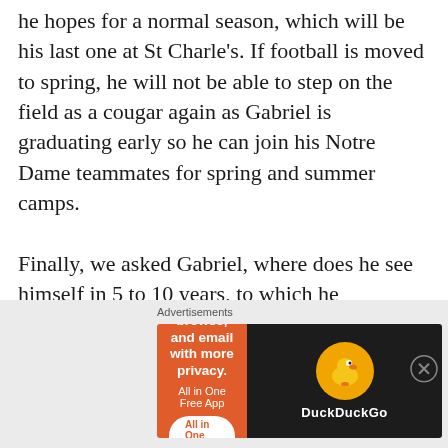he hopes for a normal season, which will be his last one at St Charle's. If football is moved to spring, he will not be able to step on the field as a cougar again as Gabriel is graduating early so he can join his Notre Dame teammates for spring and summer camps.

Finally, we asked Gabriel, where does he see himself in 5 to 10 years, to which he answered, that he wants to finish his studies, he does not know what he wants to study once he's in
[Figure (screenshot): Advertisement banner for DuckDuckGo app: orange background on left with text 'Search, browse, and email with more privacy. All in One Free App' and a button; black background on right with DuckDuckGo logo duck icon and brand name.]